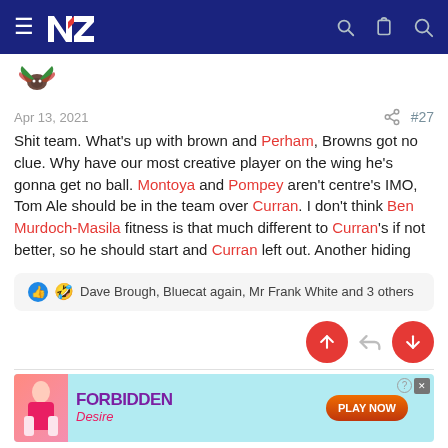NZ forum navigation bar with logo and icons
[Figure (logo): Small decorative avatar/icon with bird wings motif in green and red]
Apr 13, 2021   #27
Shit team. What's up with brown and Perham, Browns got no clue. Why have our most creative player on the wing he's gonna get no ball. Montoya and Pompey aren't centre's IMO, Tom Ale should be in the team over Curran. I don't think Ben Murdoch-Masila fitness is that much different to Curran's if not better, so he should start and Curran left out. Another hiding
👍 🤣 Dave Brough, Bluecat again, Mr Frank White and 3 others
[Figure (screenshot): Advertisement banner for Forbidden Desire game with Play Now button]